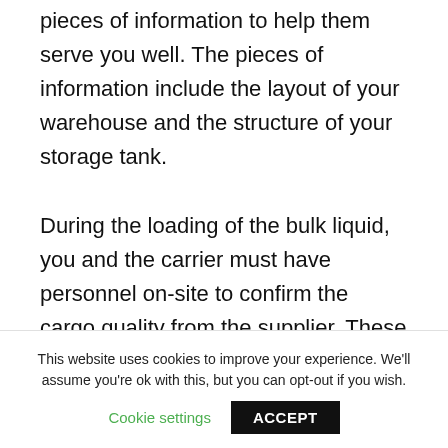pieces of information to help them serve you well. The pieces of information include the layout of your warehouse and the structure of your storage tank.

During the loading of the bulk liquid, you and the carrier must have personnel on-site to confirm the cargo quality from the supplier. These persons are also to make sure all the necessary tools and equipment are in place to transport the freight. Doing this should make
This website uses cookies to improve your experience. We'll assume you're ok with this, but you can opt-out if you wish.
Cookie settings   ACCEPT